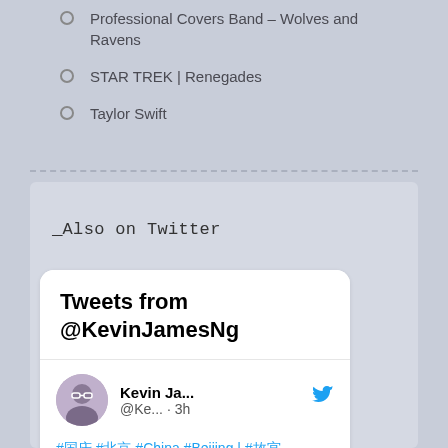Professional Covers Band – Wolves and Ravens
STAR TREK | Renegades
Taylor Swift
Also on Twitter
Tweets from @KevinJamesNg
Kevin Ja... @Ke... · 3h
#国庆 #北京 #China #Beijing | #故宫 #ForbiddenCity #August2022 | #故宫书店 #ForbiddenCityBookStore